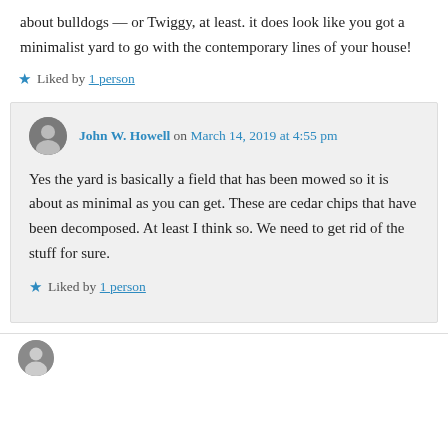about bulldogs — or Twiggy, at least. it does look like you got a minimalist yard to go with the contemporary lines of your house!
Liked by 1 person
John W. Howell on March 14, 2019 at 4:55 pm
Yes the yard is basically a field that has been mowed so it is about as minimal as you can get. These are cedar chips that have been decomposed. At least I think so. We need to get rid of the stuff for sure.
Liked by 1 person